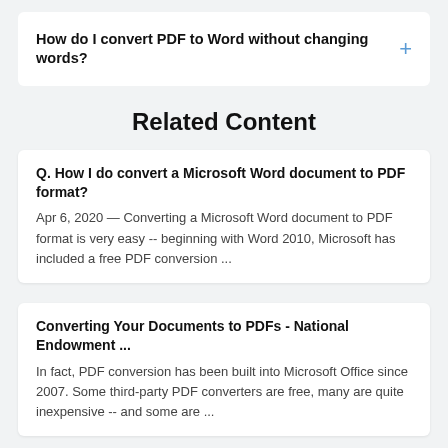How do I convert PDF to Word without changing words?
Related Content
Q. How I do convert a Microsoft Word document to PDF format?
Apr 6, 2020 — Converting a Microsoft Word document to PDF format is very easy -- beginning with Word 2010, Microsoft has included a free PDF conversion ...
Converting Your Documents to PDFs - National Endowment ...
In fact, PDF conversion has been built into Microsoft Office since 2007. Some third-party PDF converters are free, many are quite inexpensive -- and some are ...
PDF - the Tcler's Wiki!